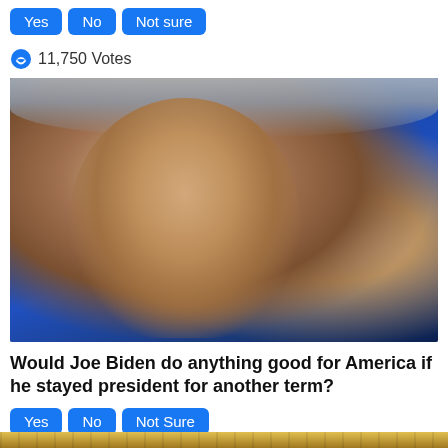Yes  No  Not sure
11,750 Votes
[Figure (photo): Close-up photo of Joe Biden speaking, pointing one finger upward, against a blue background]
Would Joe Biden do anything good for America if he stayed president for another term?
Yes  No  Not Sure
[Figure (photo): Partially visible photo at the bottom of another person, cropped, with gold/yellow decorative background]